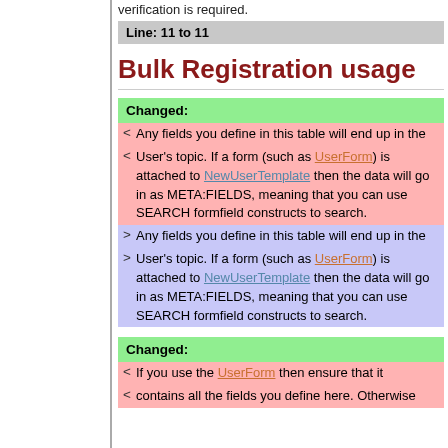verification is required.
Line: 11 to 11
Bulk Registration usage
Changed:
< Any fields you define in this table will end up in the
< User's topic. If a form (such as UserForm) is attached to NewUserTemplate then the data will go in as META:FIELDS, meaning that you can use SEARCH formfield constructs to search.
> Any fields you define in this table will end up in the
> User's topic. If a form (such as UserForm) is attached to NewUserTemplate then the data will go in as META:FIELDS, meaning that you can use SEARCH formfield constructs to search.
Changed:
< If you use the UserForm then ensure that it
< contains all the fields you define here. Otherwise